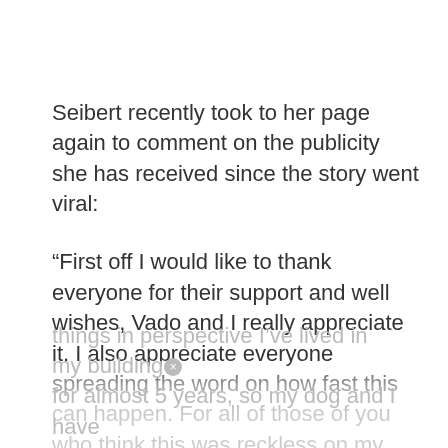Seibert recently took to her page again to comment on the publicity she has received since the story went viral:
“First off I would like to thank everyone for their support and well wishes, Vado and I really appreciate it. I also appreciate everyone spreading the word on how fast this can happen. For all of those of you who think this was reckless on my part, I’m not saying I didn’t make a mistake, I did! One which I seriously regret. But just to put things in perspective I’ve lived in my building for almost 5 years, so my dog and I have